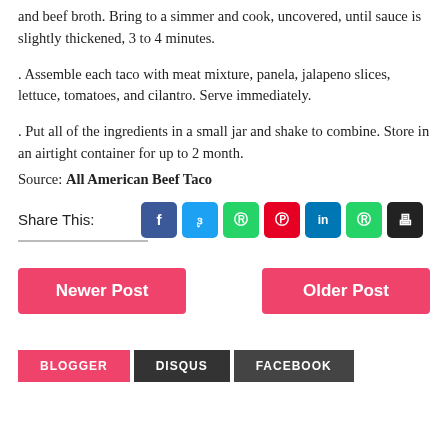and beef broth. Bring to a simmer and cook, uncovered, until sauce is slightly thickened, 3 to 4 minutes.
. Assemble each taco with meat mixture, panela, jalapeno slices, lettuce, tomatoes, and cilantro. Serve immediately.
. Put all of the ingredients in a small jar and shake to combine. Store in an airtight container for up to 2 month.
Source: All American Beef Taco
Share This:
Newer Post
Older Post
BLOGGER DISQUS FACEBOOK